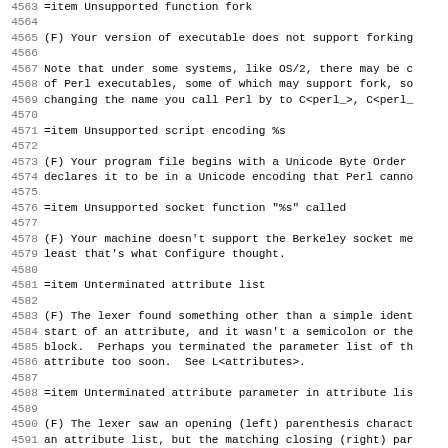4563 =item Unsupported function fork
4564
4565 (F) Your version of executable does not support forking
4566
4567 Note that under some systems, like OS/2, there may be c
4568 of Perl executables, some of which may support fork, so
4569 changing the name you call Perl by to C<perl_>, C<perl_
4570
4571 =item Unsupported script encoding %s
4572
4573 (F) Your program file begins with a Unicode Byte Order
4574 declares it to be in a Unicode encoding that Perl canno
4575
4576 =item Unsupported socket function "%s" called
4577
4578 (F) Your machine doesn't support the Berkeley socket me
4579 least that's what Configure thought.
4580
4581 =item Unterminated attribute list
4582
4583 (F) The lexer found something other than a simple ident
4584 start of an attribute, and it wasn't a semicolon or the
4585 block.  Perhaps you terminated the parameter list of th
4586 attribute too soon.  See L<attributes>.
4587
4588 =item Unterminated attribute parameter in attribute lis
4589
4590 (F) The lexer saw an opening (left) parenthesis charact
4591 an attribute list, but the matching closing (right) par
4592 character was not found.  You may need to add (or remov
4593 character to get your parentheses to balance.  See L<at
4594